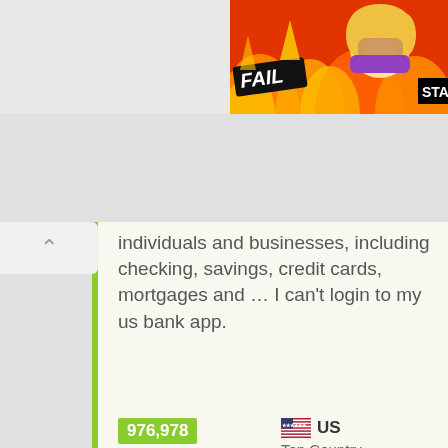[Figure (photo): FAIL advertisement banner with cartoon character in fire, top right corner. Shows 'FAIL' text badge and 'STA' text visible at edge.]
individuals and businesses, including checking, savings, credit cards, mortgages and ... I can't login to my us bank app.
976,978
Pageviews
US
Top Country
Up
Site Status
10h ago
Last Pinged
POST VIEWS: 33
Related Posts:
[Figure (illustration): Blue thumbtack/pin icon on yellow sticky note background]
[Figure (illustration): Blue thumbtack/pin icon on yellow sticky note background]